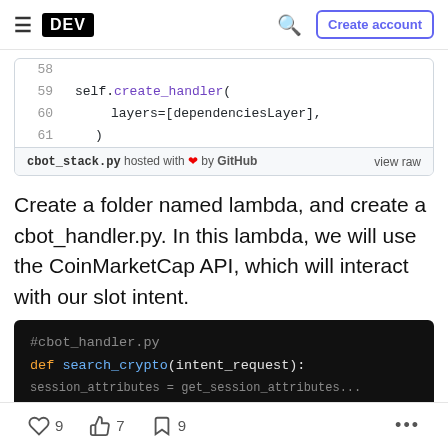DEV — Create account
[Figure (screenshot): GitHub-embedded code snippet showing Python code lines 58-61: self.create_handler( layers=[dependenciesLayer], ) with a footer: cbot_stack.py hosted with heart by GitHub — view raw]
Create a folder named lambda, and create a cbot_handler.py. In this lambda, we will use the CoinMarketCap API, which will interact with our slot intent.
[Figure (screenshot): Dark code block showing Python file #cbot_handler.py with def search_crypto(intent_request): and a partially visible next line about session_attributes]
9 likes   7 unicorns   9 bookmarks   ...